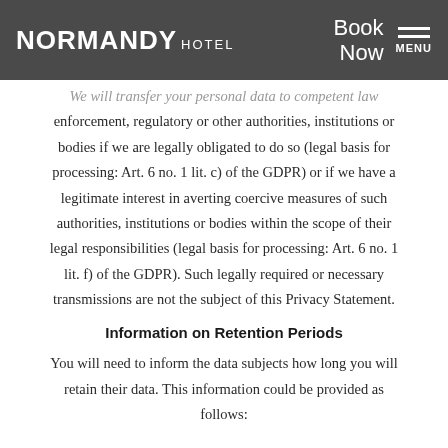NORMANDY HOTEL — Book Now / MENU
We will transfer your personal data to competent law enforcement, regulatory or other authorities, institutions or bodies if we are legally obligated to do so (legal basis for processing: Art. 6 no. 1 lit. c) of the GDPR) or if we have a legitimate interest in averting coercive measures of such authorities, institutions or bodies within the scope of their legal responsibilities (legal basis for processing: Art. 6 no. 1 lit. f) of the GDPR). Such legally required or necessary transmissions are not the subject of this Privacy Statement.
Information on Retention Periods
You will need to inform the data subjects how long you will retain their data. This information could be provided as follows: